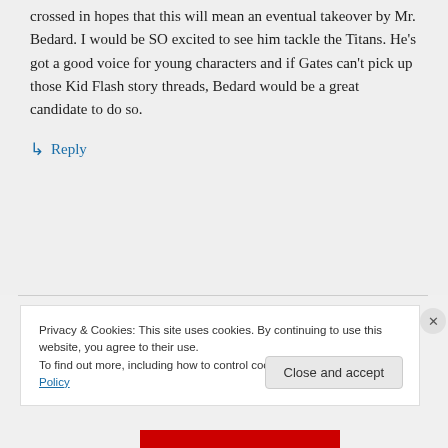crossed in hopes that this will mean an eventual takeover by Mr. Bedard. I would be SO excited to see him tackle the Titans. He's got a good voice for young characters and if Gates can't pick up those Kid Flash story threads, Bedard would be a great candidate to do so.
↳ Reply
Privacy & Cookies: This site uses cookies. By continuing to use this website, you agree to their use.
To find out more, including how to control cookies, see here: Cookie Policy